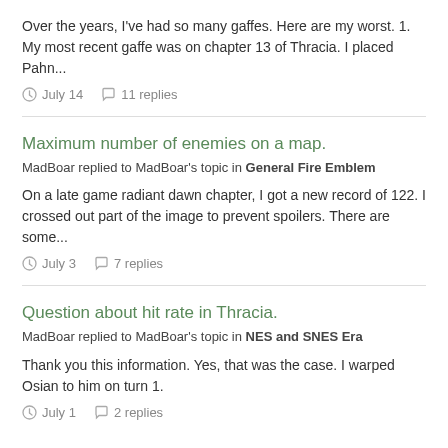Over the years, I've had so many gaffes. Here are my worst. 1. My most recent gaffe was on chapter 13 of Thracia. I placed Pahn...
July 14   11 replies
Maximum number of enemies on a map.
MadBoar replied to MadBoar's topic in General Fire Emblem
On a late game radiant dawn chapter, I got a new record of 122. I crossed out part of the image to prevent spoilers. There are some...
July 3   7 replies
Question about hit rate in Thracia.
MadBoar replied to MadBoar's topic in NES and SNES Era
Thank you this information. Yes, that was the case. I warped Osian to him on turn 1.
July 1   2 replies